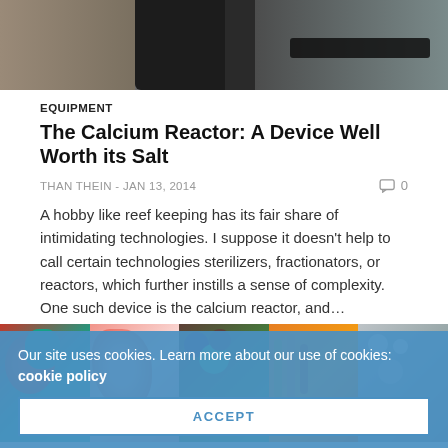[Figure (photo): Top partial image showing dark cylindrical equipment against a grey/brown background]
EQUIPMENT
The Calcium Reactor: A Device Well Worth its Salt
THAN THEIN  -  JAN 13, 2014
A hobby like reef keeping has its fair share of intimidating technologies. I suppose it doesn't help to call certain technologies sterilizers, fractionators, or reactors, which further instills a sense of complexity. One such device is the calcium reactor, and…
[Figure (photo): Strip of five coral close-up photos showing colorful reef organisms]
Our site uses cookies. Learn more about our use of cookies: cookie policy
ACCEPT